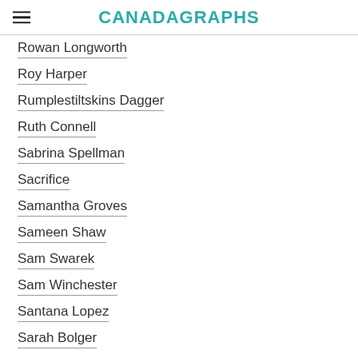CANADAGRAPHS
Rowan Longworth
Roy Harper
Rumplestiltskins Dagger
Ruth Connell
Sabrina Spellman
Sacrifice
Samantha Groves
Sameen Shaw
Sam Swarek
Sam Winchester
Santana Lopez
Sarah Bolger
Sarah Shahi
Sara Lance